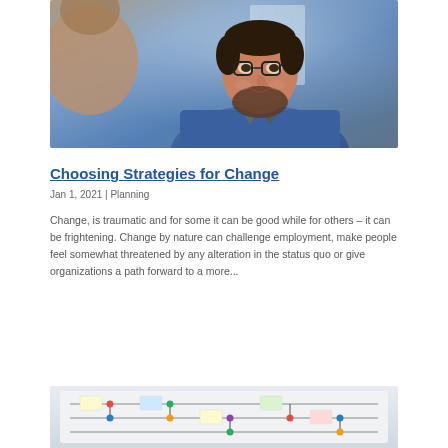[Figure (photo): Photo of a smiling bearded man wearing glasses and a blue shirt, facing another person in a conversation.]
Choosing Strategies for Change
Jan 1, 2021 | Planning
Change, is traumatic and for some it can be good while for others – it can be frightening. Change by nature can challenge employment, make people feel somewhat threatened by any alteration in the status quo or give organizations a path forward to a more...
[Figure (photo): Partial photo showing a whiteboard or planning board with sticky notes, connector lines, and colored dots — likely a project planning or workflow diagram.]